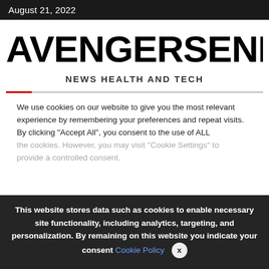August 21, 2022
AVENGERSENDGAMEFU
NEWS HEALTH AND TECH
We use cookies on our website to give you the most relevant experience by remembering your preferences and repeat visits. By clicking "Accept All", you consent to the use of ALL the cookies. However, you may visit "Cookie Settings" to provide a controlled consent.
This website stores data such as cookies to enable necessary site functionality, including analytics, targeting, and personalization. By remaining on this website you indicate your consent Cookie Policy